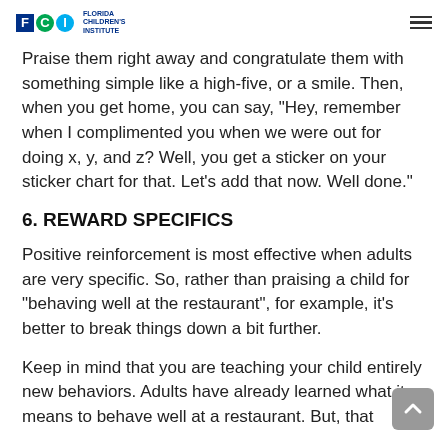FCI Florida Children's Institute
Praise them right away and congratulate them with something simple like a high-five, or a smile. Then, when you get home, you can say, "Hey, remember when I complimented you when we were out for doing x, y, and z? Well, you get a sticker on your sticker chart for that. Let’s add that now. Well done."
6. REWARD SPECIFICS
Positive reinforcement is most effective when adults are very specific. So, rather than praising a child for “behaving well at the restaurant”, for example, it’s better to break things down a bit further.
Keep in mind that you are teaching your child entirely new behaviors. Adults have already learned what it means to behave well at a restaurant. But, that